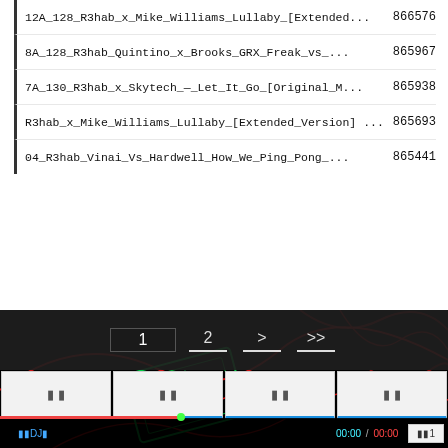12A_128_R3hab_x_Mike_Williams_Lullaby_[Extended... 866576
8A_128_R3hab_Quintino_x_Brooks_GRX_Freak_vs_... 865967
7A_130_R3hab_x_Skytech_—_Let_It_Go_[Original_M... 865938
R3hab_x_Mike_Williams_Lullaby_[Extended_Version] ... 865693
04_R3hab_Vinai_Vs_Hardwell_How_We_Ping_Pong_... 865441
[Figure (screenshot): Pagination controls showing page 1 (active/highlighted), page 2, forward (>), and fast-forward (>>) buttons with underlines, on dark background with decorative red and green geometric lines]
[Figure (screenshot): Media player control bar with four buttons (each showing two small squares/icons), blue bottom border accent, on white background]
[Figure (screenshot): Bottom player bar showing DJ label in cyan, time display 00:00 / 00:00 in cyan/red, and queue button labeled with Japanese characters and '1', on black background with decorative art]